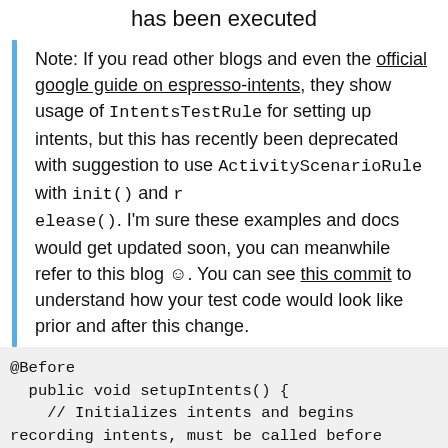has been executed
Note: If you read other blogs and even the official google guide on espresso-intents, they show usage of IntentsTestRule for setting up intents, but this has recently been deprecated with suggestion to use ActivityScenarioRule with init() and release(). I'm sure these examples and docs would get updated soon, you can meanwhile refer to this blog ☺. You can see this commit to understand how your test code would look like prior and after this change.
@Before
  public void setupIntents() {
    // Initializes intents and begins
recording intents, must be called before
    // triggering any actions that call
an intent that we want to verify with